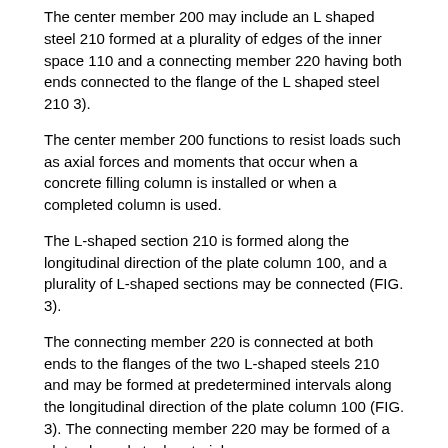The center member 200 may include an L shaped steel 210 formed at a plurality of edges of the inner space 110 and a connecting member 220 having both ends connected to the flange of the L shaped steel 210 3).
The center member 200 functions to resist loads such as axial forces and moments that occur when a concrete filling column is installed or when a completed column is used.
The L-shaped section 210 is formed along the longitudinal direction of the plate column 100, and a plurality of L-shaped sections may be connected (FIG. 3).
The connecting member 220 is connected at both ends to the flanges of the two L-shaped steels 210 and may be formed at predetermined intervals along the longitudinal direction of the plate column 100 (FIG. 3). The connecting member 220 may be formed of a plate-shaped steel material.
The connecting member 220 supports the load applied to the L-shaped steel 210 and fixes the column steel frame 220 so as not to be separated from the forming position.